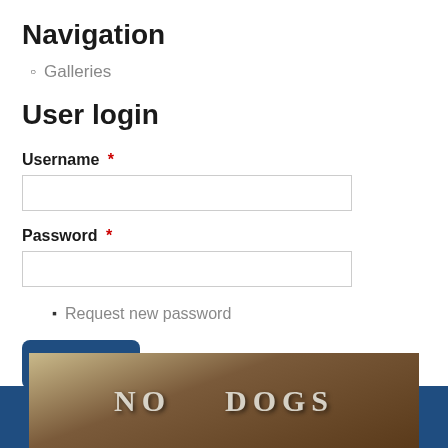Navigation
Galleries
User login
Username *
Password *
Request new password
Log in
[Figure (photo): A worn wooden sign reading NO DOGS, visible at the bottom of the page against a dark blue background banner]